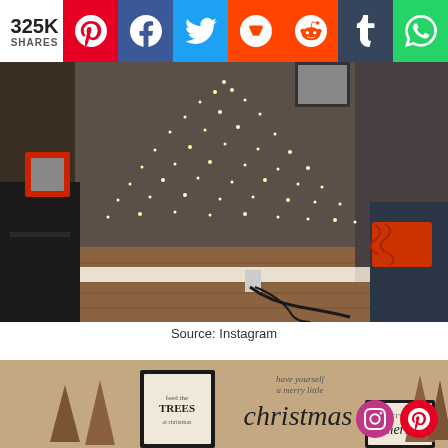325K SHARES
[Figure (photo): Room with Christmas lights arranged in a tree shape on a corner wall, with a black side table, framed photos, and a dark chair with red zebra pillow]
Source: Instagram
[Figure (photo): Christmas home decor with framed signs reading 'have yourself a merry little christmas', 'TREES', 'LET'S BE merry', with cone-shaped decorative trees]